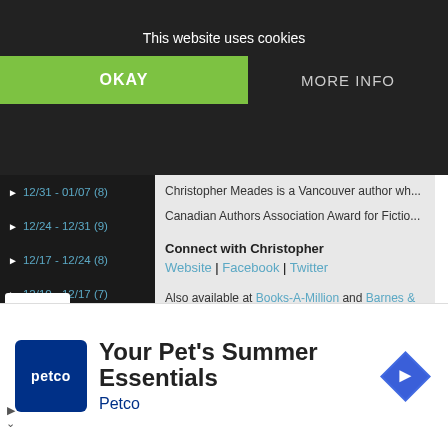Buy Haunts Who Felt From the Bay at Ama...
This website uses cookies
OKAY
MORE INFO
► 12/31 - 01/07 (8)
► 12/24 - 12/31 (9)
► 12/17 - 12/24 (8)
► 12/10 - 12/17 (7)
► 12/03 - 12/10 (7)
► 11/26 - 12/03 (8)
► 11/19 - 11/26 (9)
► 11/12 - 11/19 (9)
► 11/05 - 11/12 (8)
► 10/29 - 11/05 (10)
► 22 - 10/29 (9)
About the Author
Christopher Meades is a Vancouver author wh... Canadian Authors Association Award for Fictio...
Connect with Christopher
Website | Facebook | Twitter
Also available at Books-A-Million and Barnes &...
Susan Roberts lives in North Carolina wher... enjoy traveling, gardening and spending tim... almost anything (and the piles of books in h... are Southern fiction, women's fiction and thr...
[Figure (screenshot): Petco advertisement banner with logo, headline 'Your Pet's Summer Essentials', subtext 'Petco', and navigation arrow icon]